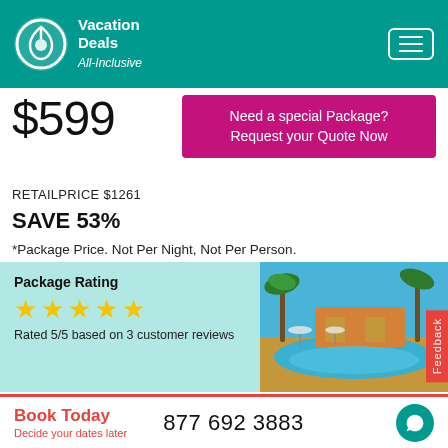Vacation Deals All-Inclusive
$599
Need a special Package? Request your Quote Now
RETAIL PRICE $1261
SAVE 53%
*Package Price. Not Per Night, Not Per Person.
Package Rating
★★★★★
Rated 5/5 based on 3 customer reviews
[Figure (photo): Resort pool area with palm trees and blue sky]
In the heart of Loreto Bay on the Sea of Cortez enjoy the crystal clear turquoise waters and bask in the golden sun. The Beautiful
Book Today
Decide your dates later
877 692 3883